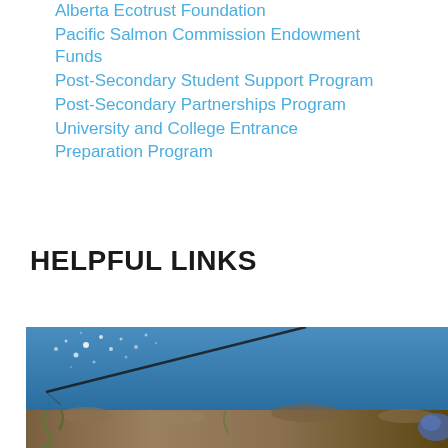Alberta Ecotrust Foundation
Pacific Salmon Commission Endowment Funds
Post-Secondary Student Support Program
Post-Secondary Partnerships Program
University and College Entrance Preparation Program
HELPFUL LINKS
[Figure (photo): A fishing rod extending over rocks and kelp into blue ocean water with sunlight sparkles on the surface]